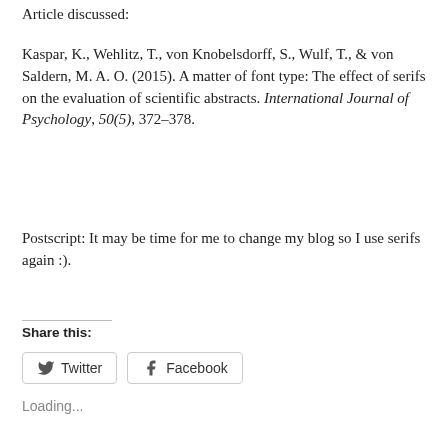Article discussed:
Kaspar, K., Wehlitz, T., von Knobelsdorff, S., Wulf, T., & von Saldern, M. A. O. (2015). A matter of font type: The effect of serifs on the evaluation of scientific abstracts. International Journal of Psychology, 50(5), 372–378.
Postscript: It may be time for me to change my blog so I use serifs again :).
Share this:
Twitter  Facebook
Loading...